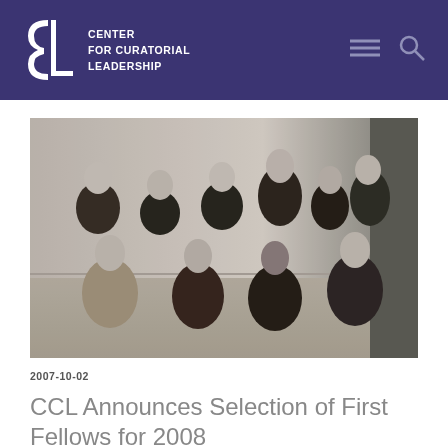CENTER FOR CURATORIAL LEADERSHIP
[Figure (photo): Black and white group photo of 11 people posing together in two rows — the back row standing and the front row seated — in a formal indoor setting.]
2007-10-02
CCL Announces Selection of First Fellows for 2008